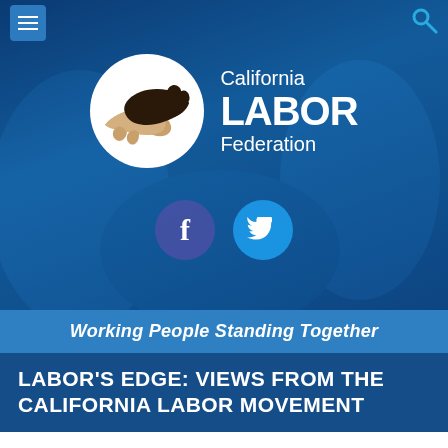[Figure (logo): California Labor Federation logo: white circle with two clasped hands (one dark, one light) silhouette, beside text reading California LABOR Federation in white on dark blue background. Facebook and Twitter social icons below.]
Working People Standing Together
LABOR'S EDGE: VIEWS FROM THE CALIFORNIA LABOR MOVEMENT
<< LABOR'S EDGE BLOG ARTICLES
United Farm Workers